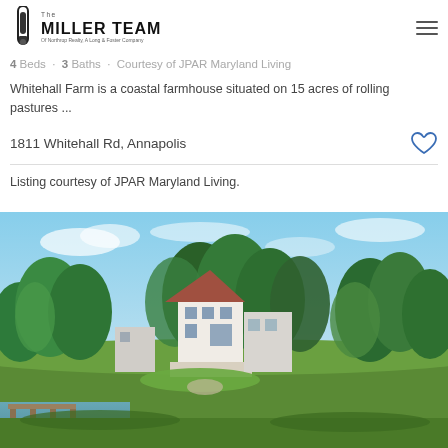The Miller Team — Of Northrop Realty, A Long & Foster Company
$1,100,000
4 Beds · 3 Baths · Courtesy of JPAR Maryland Living
Whitehall Farm is a coastal farmhouse situated on 15 acres of rolling pastures ...
1811 Whitehall Rd, Annapolis
Listing courtesy of JPAR Maryland Living.
[Figure (photo): Aerial view of Whitehall Farm, a white farmhouse surrounded by lush green trees, with a waterfront dock visible in the foreground.]